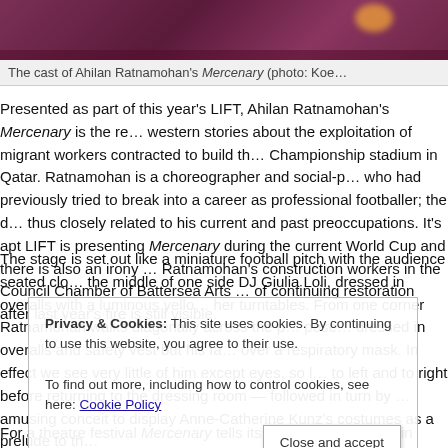[Figure (photo): Cast of Ahilan Ratnamohan's Mercenary on stage, dark reddish-purple background]
The cast of Ahilan Ratnamohan's Mercenary (photo: Koe…
Presented as part of this year's LIFT, Ahilan Ratnamohan's Mercenary is the re… western stories about the exploitation of migrant workers contracted to build the Championship stadium in Qatar. Ratnamohan is a choreographer and social-p… who had previously tried to break into a career as professional footballer; the d… thus closely related to his current and past preoccupations. It's apt LIFT is presenting Mercenary during the current World Cup and there is also an irony … Ratnamohan's construction workers in the Council Chamber of Battersea Arts … of continuing restoration after last year's fire is still visible.
The stage is set out like a miniature football pitch with the audience seated clo… the middle of one side DJ Giulia Loli, dressed in overalls with a luminous yello… her turntables. From one corner Ratnamohan walks diagonally across the p… pose… dressed in overalls and safety vest but his fa… over a respiratory mask. In effect we see very little of him except eyes, so l… to left and to right before returning to the dressing room — followed in turn by … amusing conceit to display Anne-Catherine Kunz's costumes as a prelude to th…
For a theatre festival Mercenary tells its story predominantly in movement. Tho…